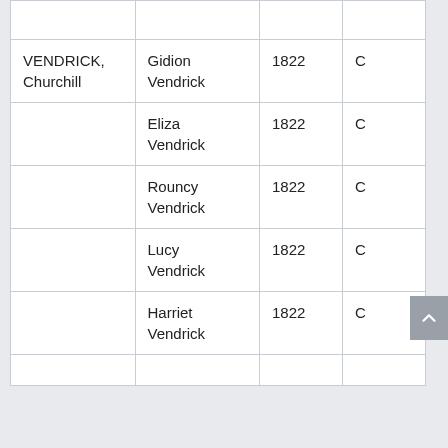| VENDRICK, Churchill | Gidion Vendrick | 1822 | C |
|  | Eliza Vendrick | 1822 | C |
|  | Rouncy Vendrick | 1822 | C |
|  | Lucy Vendrick | 1822 | C |
|  | Harriet Vendrick | 1822 | C |